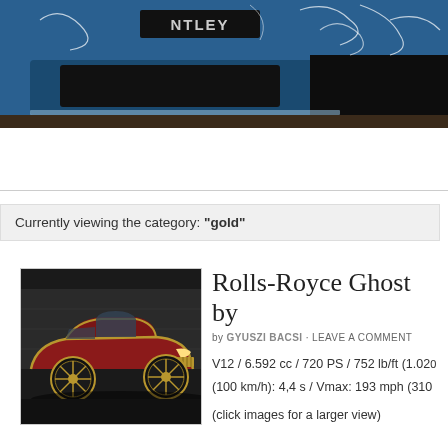[Figure (photo): Close-up of the front grille and hood of a blue Bentley car with white decorative swirl patterns painted on it. The BENTLEY nameplate is partially visible. The background is a dark/brown surface.]
Currently viewing the category: "gold"
[Figure (photo): A red and gold Rolls-Royce Ghost luxury car photographed in a dark industrial setting. The car features gold accent trim and large gold-colored multi-spoke wheels.]
Rolls-Royce Ghost by
by GYUSZI BACSI · LEAVE A COMMENT
V12 / 6.592 cc / 720 PS / 752 lb/ft (1.020 (100 km/h): 4,4 s / Vmax: 193 mph (310
(click images for a larger view)